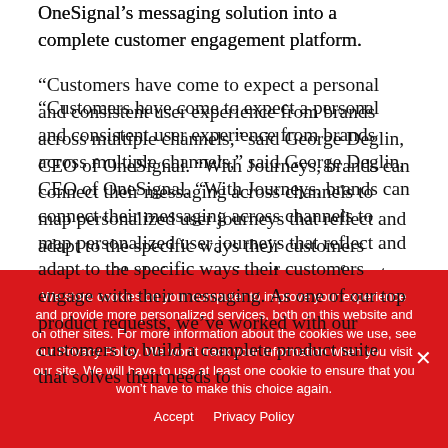OneSignal's messaging solution into a complete customer engagement platform.
“Customers have come to expect a personal and consistent user experience from brands across multiple channels,” said George Deglin, CEO of OneSignal. “With Journeys, brands can connect their messaging across channels to map personalized user journeys that reflect and adapt to the specific ways their customers engage with their messaging. As one of our top product requests, we’ve worked with our customers to build a complete product suite that solves their needs to
We store cookies on your computer to improve your experience and provide more personalized services, both on this website and on other sites. For more information about the cookies we use, see our Privacy Policy. We won’t track your information when you visit our site. We will have to use at least one cookie to ensure that you won’t have to make this choice again.
Accept   Privacy Policy